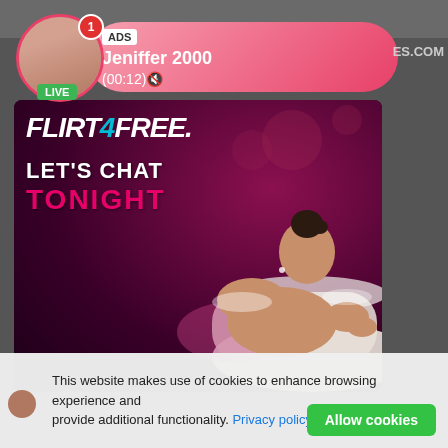[Figure (screenshot): Mobile browser screenshot showing a live notification card for 'Jeniffer 2000' with ADS label and timer (00:12), profile photo circle with LIVE badge, and a Flirt4Free advertisement banner with text 'LET'S CHAT TONIGHT' over a dark background with a figure in a bathtub. A cookie consent bar is visible at the bottom with Privacy policy link and Allow cookies button. Top right partial text shows 'ES.COM'.]